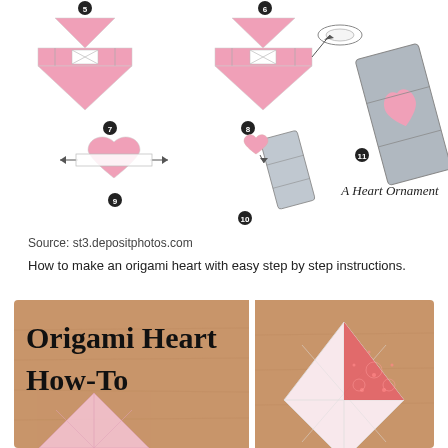[Figure (illustration): Origami heart ornament step-by-step diagram showing steps 5-11 with pink paper folding instructions. Steps 5 and 6 show top views with folding arrows, step 7 shows heart shape with arrows, steps 8-10 show folded pink heart being placed into a gray rectangular box/ornament, step 11 shows completed gray heart ornament with pink heart visible. Label reads 'A Heart Ornament'.]
Source: st3.depositphotos.com
How to make an origami heart with easy step by step instructions.
[Figure (photo): Two photos on wooden background. Left photo shows text 'Origami Heart How-To' with a pink folded paper diamond/square shape partially visible. Right photo shows a white/pink square folded paper with a red patterned triangular flap at top, arranged in diamond orientation on wooden background.]